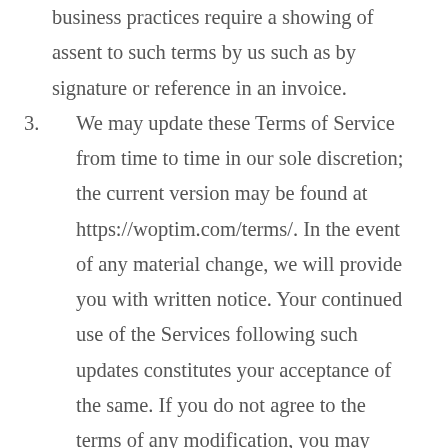business practices require a showing of assent to such terms by us such as by signature or reference in an invoice.
3. We may update these Terms of Service from time to time in our sole discretion; the current version may be found at https://woptim.com/terms/. In the event of any material change, we will provide you with written notice. Your continued use of the Services following such updates constitutes your acceptance of the same. If you do not agree to the terms of any modification, you may terminate the Agreement in accordance with the